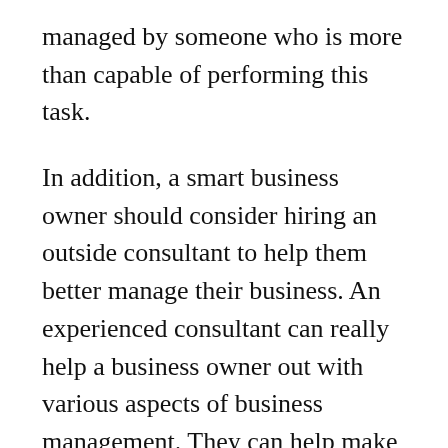managed by someone who is more than capable of performing this task.
In addition, a smart business owner should consider hiring an outside consultant to help them better manage their business. An experienced consultant can really help a business owner out with various aspects of business management. They can help make sure that everything is running smoothly, as well as keep tabs on the latest trends in business management.
Advice for the small business owner is to never let your business get too big. Too much competition for a particular product or service